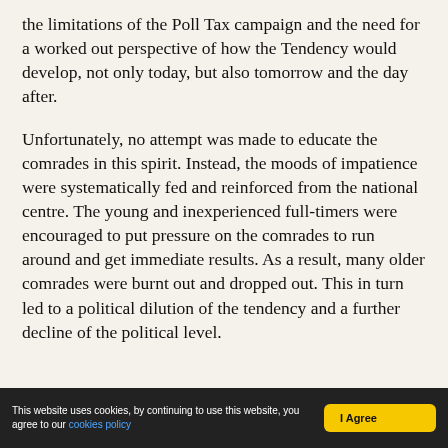the limitations of the Poll Tax campaign and the need for a worked out perspective of how the Tendency would develop, not only today, but also tomorrow and the day after.
Unfortunately, no attempt was made to educate the comrades in this spirit. Instead, the moods of impatience were systematically fed and reinforced from the national centre. The young and inexperienced full-timers were encouraged to put pressure on the comrades to run around and get immediate results. As a result, many older comrades were burnt out and dropped out. This in turn led to a political dilution of the tendency and a further decline of the political level.
This website uses cookies, by continuing to use this website, you agree to our cookies policy | I Agree